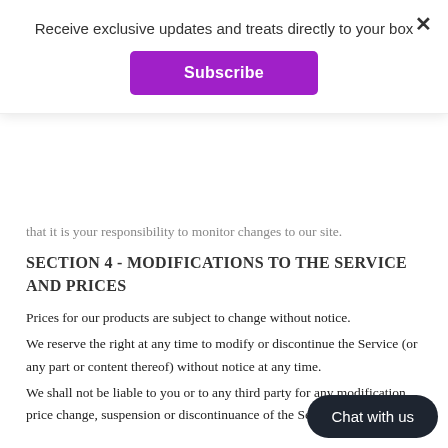Receive exclusive updates and treats directly to your box
Subscribe
that it is your responsibility to monitor changes to our site.
SECTION 4 - MODIFICATIONS TO THE SERVICE AND PRICES
Prices for our products are subject to change without notice.
We reserve the right at any time to modify or discontinue the Service (or any part or content thereof) without notice at any time.
We shall not be liable to you or to any third party for any modification, price change, suspension or discontinuance of the Service.
Chat with us